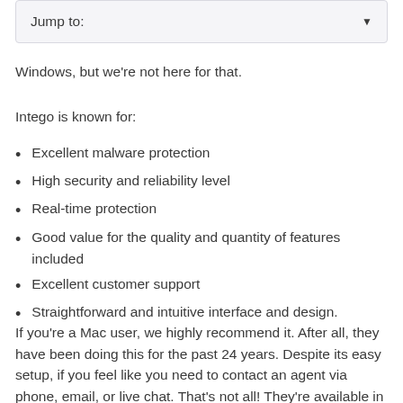[Figure (screenshot): Jump to: dropdown navigation box with a downward arrow on the right]
Windows, but we're not here for that.
Intego is known for:
Excellent malware protection
High security and reliability level
Real-time protection
Good value for the quality and quantity of features included
Excellent customer support
Straightforward and intuitive interface and design.
If you're a Mac user, we highly recommend it. After all, they have been doing this for the past 24 years. Despite its easy setup, if you feel like you need to contact an agent via phone, email, or live chat. That's not all! They're available in several languages during specific hours.